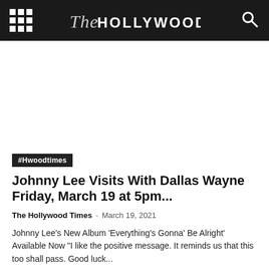The Hollywood Times
#Hwoodtimes
Johnny Lee Visits With Dallas Wayne Friday, March 19 at 5pm...
The Hollywood Times  -  March 19, 2021
Johnny Lee's New Album 'Everything's Gonna' Be Alright' Available Now "I like the positive message. It reminds us that this too shall pass. Good luck...